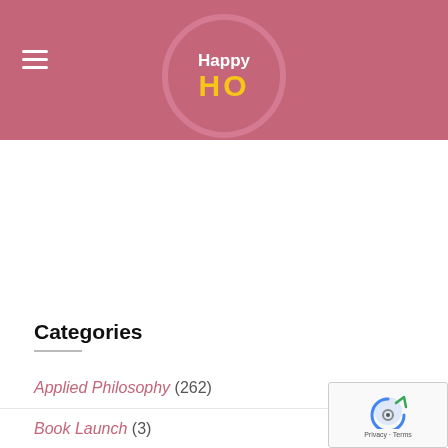Happy HO - website header with logo
Categories
Applied Philosophy (262)
Book Launch (3)
Buddha (14)